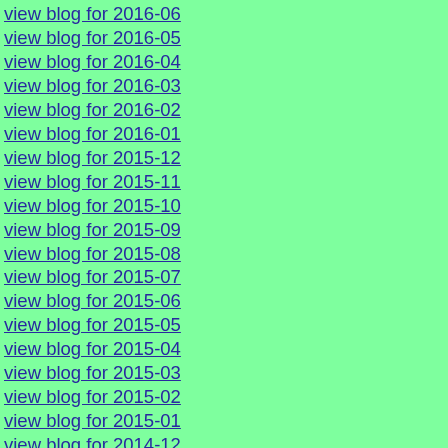view blog for 2016-06
view blog for 2016-05
view blog for 2016-04
view blog for 2016-03
view blog for 2016-02
view blog for 2016-01
view blog for 2015-12
view blog for 2015-11
view blog for 2015-10
view blog for 2015-09
view blog for 2015-08
view blog for 2015-07
view blog for 2015-06
view blog for 2015-05
view blog for 2015-04
view blog for 2015-03
view blog for 2015-02
view blog for 2015-01
view blog for 2014-12
view blog for 2014-11
view blog for 2014-10
view blog for 2014-09
view blog for 2014-08
view blog for 2014-07
view blog for 2014-06